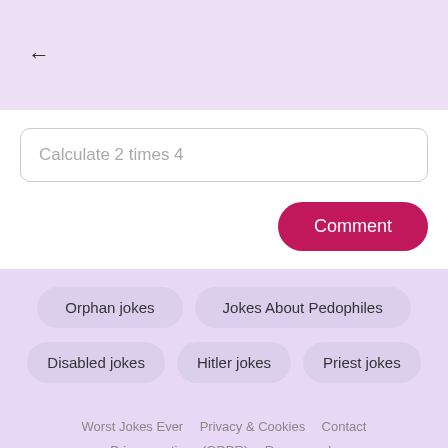←
Calculate 2 times 4
Comment
Orphan jokes
Jokes About Pedophiles
Disabled jokes
Hitler jokes
Priest jokes
Worst Jokes Ever   Privacy & Cookies   Contact   Privacy options (GDPR)   Remove ads